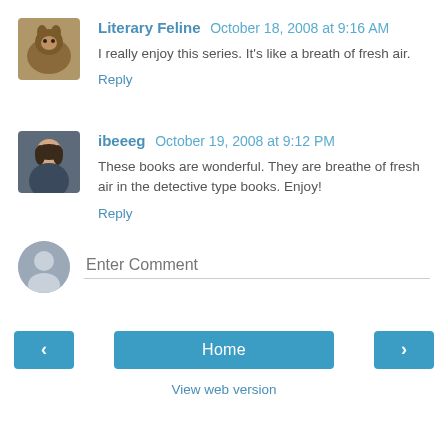[Figure (photo): Avatar of Literary Feline — a cat sitting on someone's head]
Literary Feline  October 18, 2008 at 9:16 AM
I really enjoy this series. It's like a breath of fresh air.
Reply
[Figure (photo): Avatar of ibeeeg — a woman with dark hair]
ibeeeg  October 19, 2008 at 9:12 PM
These books are wonderful. They are breathe of fresh air in the detective type books. Enjoy!
Reply
Enter Comment
Home
View web version